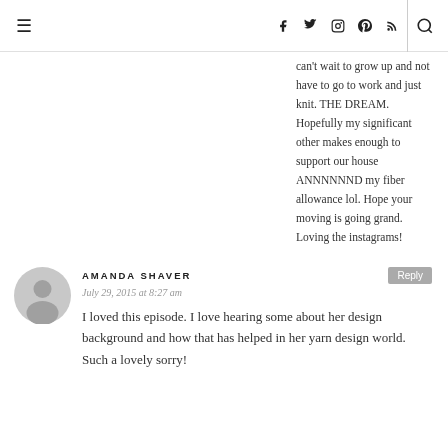≡ [nav icons] [search]
can't wait to grow up and not have to go to work and just knit. THE DREAM. Hopefully my significant other makes enough to support our house ANNNNNND my fiber allowance lol. Hope your moving is going grand. Loving the instagrams!
AMANDA SHAVER
July 29, 2015 at 8:27 am
I loved this episode. I love hearing some about her design background and how that has helped in her yarn design world. Such a lovely sorry!